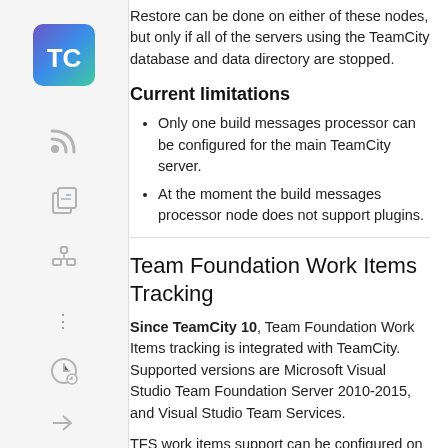Restore can be done on either of these nodes, but only if all of the servers using the TeamCity database and data directory are stopped.
Current limitations
Only one build messages processor can be configured for the main TeamCity server.
At the moment the build messages processor node does not support plugins.
Team Foundation Work Items Tracking
Since TeamCity 10, Team Foundation Work Items tracking is integrated with TeamCity. Supported versions are Microsoft Visual Studio Team Foundation Server 2010-2015, and Visual Studio Team Services.
TFS work items support can be configured on the Issue trackers page for a project. If a project has a TFVC root configured, TeamCity will suggest configuring the issue tracker as well.